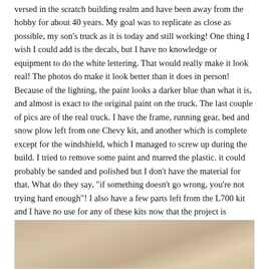versed in the scratch building realm and have been away from the hobby for about 40 years. My goal was to replicate as close as possible, my son's truck as it is today and still working! One thing I wish I could add is the decals, but I have no knowledge or equipment to do the white lettering. That would really make it look real! The photos do make it look better than it does in person! Because of the lighting, the paint looks a darker blue than what it is, and almost is exact to the original paint on the truck. The last couple of pics are of the real truck. I have the frame, running gear, bed and snow plow left from one Chevy kit, and another which is complete except for the windshield, which I managed to screw up during the build. I tried to remove some paint and marred the plastic. it could probably be sanded and polished but I don't have the material for that. What do they say, "if something doesn't go wrong, you're not trying hard enough"! I also have a few parts left from the L700 kit and I have no use for any of these kits now that the project is finished. If anyone is interested, we can work out a deal! Enjoy the pics.
[Figure (photo): Partial photo visible at the bottom of the page, showing a tan/beige surface with soft folds or curves, likely fabric or a model surface.]